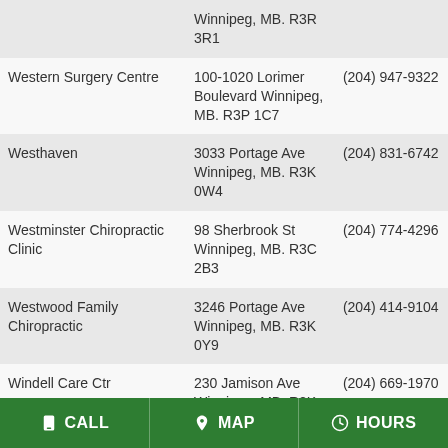| Name | Address | Phone |
| --- | --- | --- |
|  | Winnipeg, MB. R3R 3R1 |  |
| Western Surgery Centre | 100-1020 Lorimer Boulevard Winnipeg, MB. R3P 1C7 | (204) 947-9322 |
| Westhaven | 3033 Portage Ave Winnipeg, MB. R3K 0W4 | (204) 831-6742 |
| Westminster Chiropractic Clinic | 98 Sherbrook St Winnipeg, MB. R3C 2B3 | (204) 774-4296 |
| Westwood Family Chiropractic | 3246 Portage Ave Winnipeg, MB. R3K 0Y9 | (204) 414-9104 |
| Windell Care Ctr | 230 Jamison Ave Winnipeg, MB. R2K 1M7 | (204) 669-1970 |
| Windsor Park Medical Clinic | 159 St Anne's Road Winnipeg, MB. R2M 2Z5 | (204) 256-4343 |
| Winnipeg Dental Implant Centre: Winnipeg Dentists | 191 River Avenue Winnipeg, MB. R3L 0B1 | (204) 453-1788 |
CALL   MAP   HOURS